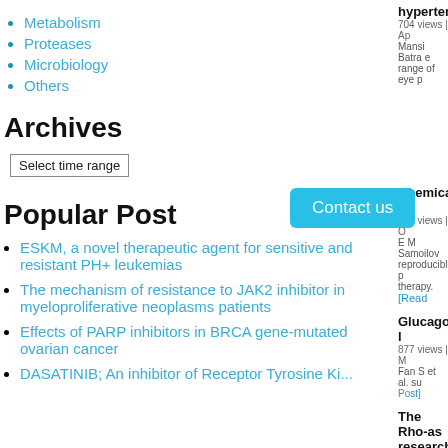Metabolism
Proteases
Microbiology
Others
Archives
Select time range
Popular Post
ESKM, a novel therapeutic agent for sensitive and resistant PH+ leukemias
The mechanism of resistance to JAK2 inhibitor in myeloproliferative neoplasms patients
Effects of PARP inhibitors in BRCA gene-mutated ovarian cancer
DASATINIB; An inhibitor of Receptor Tyrosine Ki...
hypertensio... 704 views | Ap... Mansi Batra e... range of eye p...
Contact us
Chemical P... 739 views | O... E M Samoilov... reproducible p... therapy. [Read...
Glucagon-l... 877 views | M... Fan S et al. su... Post]
The Rho-as... research 1244 views | M...